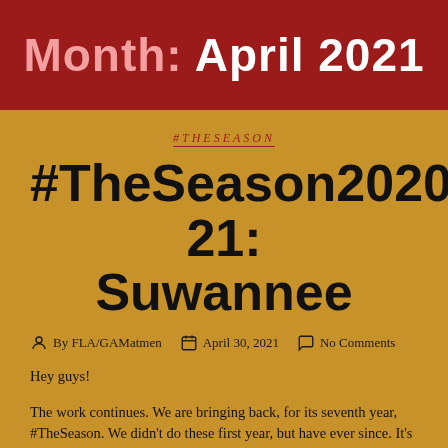Month: April 2021
#THESEASON
#TheSeason2020-21: Suwannee
By FLA/GAMatmen   April 30, 2021   No Comments
Hey guys!
The work continues. We are bringing back, for its seventh year, #TheSeason. We didn't do these first year, but have ever since. It's